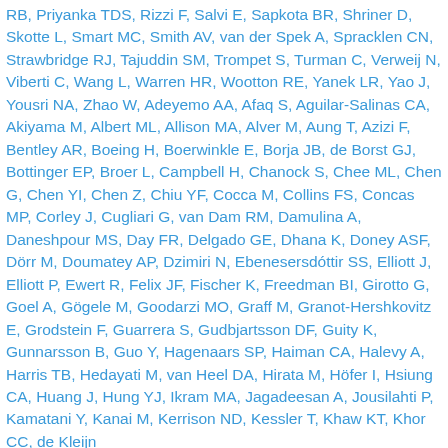RB, Priyanka TDS, Rizzi F, Salvi E, Sapkota BR, Shriner D, Skotte L, Smart MC, Smith AV, van der Spek A, Spracklen CN, Strawbridge RJ, Tajuddin SM, Trompet S, Turman C, Verweij N, Viberti C, Wang L, Warren HR, Wootton RE, Yanek LR, Yao J, Yousri NA, Zhao W, Adeyemo AA, Afaq S, Aguilar-Salinas CA, Akiyama M, Albert ML, Allison MA, Alver M, Aung T, Azizi F, Bentley AR, Boeing H, Boerwinkle E, Borja JB, de Borst GJ, Bottinger EP, Broer L, Campbell H, Chanock S, Chee ML, Chen G, Chen YI, Chen Z, Chiu YF, Cocca M, Collins FS, Concas MP, Corley J, Cugliari G, van Dam RM, Damulina A, Daneshpour MS, Day FR, Delgado GE, Dhana K, Doney ASF, Dörr M, Doumatey AP, Dzimiri N, Ebenesersdóttir SS, Elliott J, Elliott P, Ewert R, Felix JF, Fischer K, Freedman BI, Girotto G, Goel A, Gögele M, Goodarzi MO, Graff M, Granot-Hershkovitz E, Grodstein F, Guarrera S, Gudbjartsson DF, Guity K, Gunnarsson B, Guo Y, Hagenaars SP, Haiman CA, Halevy A, Harris TB, Hedayati M, van Heel DA, Hirata M, Höfer I, Hsiung CA, Huang J, Hung YJ, Ikram MA, Jagadeesan A, Jousilahti P, Kamatani Y, Kanai M, Kerrison ND, Kessler T, Khaw KT, Khor CC, de Kleijn DPV, de la Harpe R, Heid IM, He...